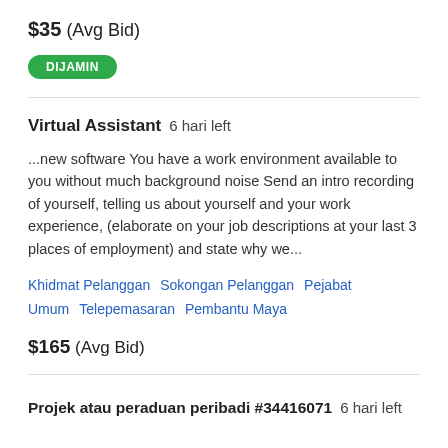$35  (Avg Bid)
DIJAMIN
Virtual Assistant  6 hari left
...new software You have a work environment available to you without much background noise Send an intro recording of yourself, telling us about yourself and your work experience, (elaborate on your job descriptions at your last 3 places of employment) and state why we...
Khidmat Pelanggan  Sokongan Pelanggan  Pejabat Umum  Telepemasaran  Pembantu Maya
$165  (Avg Bid)
Projek atau peraduan peribadi #34416071  6 hari left